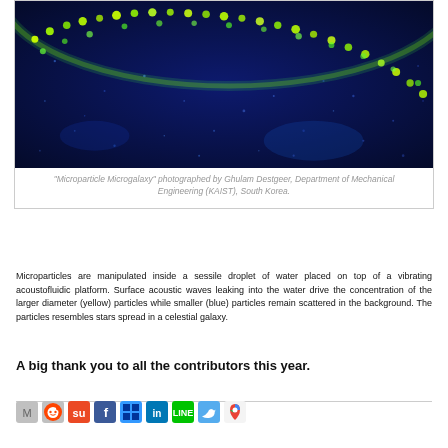[Figure (photo): Fluorescence microscopy image titled 'Microparticle Microgalaxy' showing microparticles in a sessile water droplet on an acoustofluidic platform. Larger yellow/green particles are concentrated in an arc against a deep blue background scattered with smaller blue particles resembling stars in a galaxy.]
"Microparticle Microgalaxy" photographed by Ghulam Destgeer, Department of Mechanical Engineering (KAIST), South Korea.
Microparticles are manipulated inside a sessile droplet of water placed on top of a vibrating acoustofluidic platform. Surface acoustic waves leaking into the water drive the concentration of the larger diameter (yellow) particles while smaller (blue) particles remain scattered in the background. The particles resembles stars spread in a celestial galaxy.
A big thank you to all the contributors this year.
[Figure (other): Row of social media sharing icons: Mendeley, Reddit, StumbleUpon, Facebook, Delicious, LinkedIn, Line, Twitter, Google Maps/Plus]